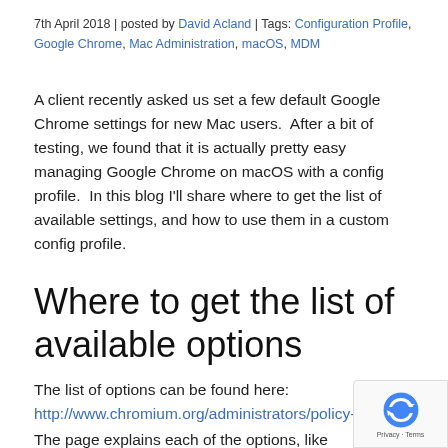7th April 2018 | posted by David Acland | Tags: Configuration Profile, Google Chrome, Mac Administration, macOS, MDM
A client recently asked us set a few default Google Chrome settings for new Mac users.  After a bit of testing, we found that it is actually pretty easy managing Google Chrome on macOS with a config profile.  In this blog I'll share where to get the list of available settings, and how to use them in a custom config profile.
Where to get the list of available options
The list of options can be found here: http://www.chromium.org/administrators/policy-
The page explains each of the options, like